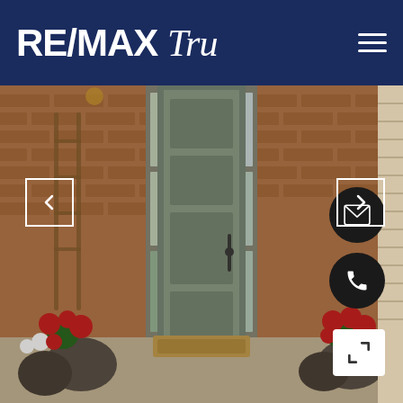[Figure (logo): RE/MAX Tru real estate agency logo in white text on dark navy blue background with hamburger menu icon]
[Figure (photo): Exterior front door photo of a brick home with a sage/grey-green front door, sidelights, potted red geraniums and white flowers on either side, welcome mat, with navigation arrows overlay and action buttons for email, phone, and expand]